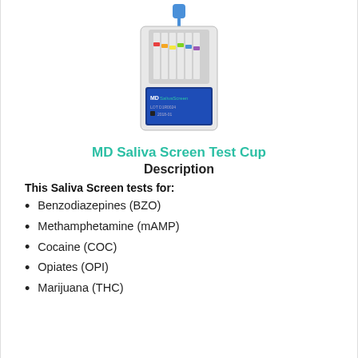[Figure (photo): Photo of MD Saliva Screen Test Cup device with colored test strips visible at the top and a label showing MD SalivaScreen branding, lot number, and date.]
MD Saliva Screen Test Cup
Description
This Saliva Screen tests for:
Benzodiazepines (BZO)
Methamphetamine (mAMP)
Cocaine (COC)
Opiates (OPI)
Marijuana (THC)